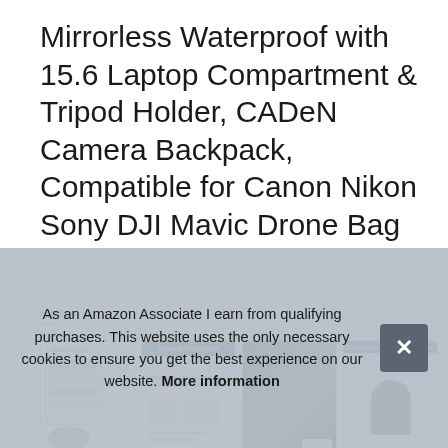Mirrorless Waterproof with 15.6 Laptop Compartment & Tripod Holder, CADeN Camera Backpack, Compatible for Canon Nikon Sony DJI Mavic Drone Bag
#ad
[Figure (photo): Four product thumbnail images of the CADeN camera backpack showing: (1) labeled diagram of internal compartments, (2) Camera Protection banner with features listed, (3) interior view of backpack padding, (4) tripod attachment feature on the bottom]
CAD
dji mavic drone + 15. 6" laptop + mobile phone + accessories.
As an Amazon Associate I earn from qualifying purchases. This website uses the only necessary cookies to ensure you get the best experience on our website. More information